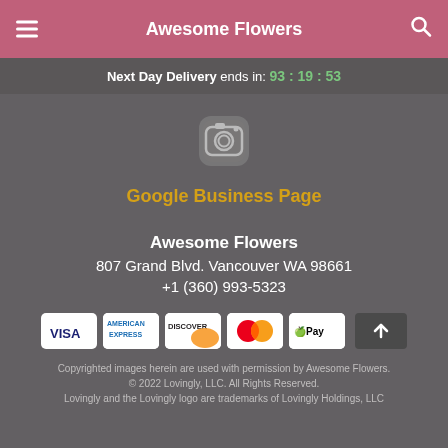Awesome Flowers
Next Day Delivery ends in: 93:19:53
[Figure (illustration): Instagram camera icon in gray]
Google Business Page
Awesome Flowers
807 Grand Blvd. Vancouver WA 98661
+1 (360) 993-5323
[Figure (infographic): Payment method icons: VISA, American Express, Discover, Mastercard, Apple Pay, and a scroll-to-top arrow button]
Copyrighted images herein are used with permission by Awesome Flowers.
© 2022 Lovingly, LLC. All Rights Reserved.
Lovingly and the Lovingly logo are trademarks of Lovingly Holdings, LLC